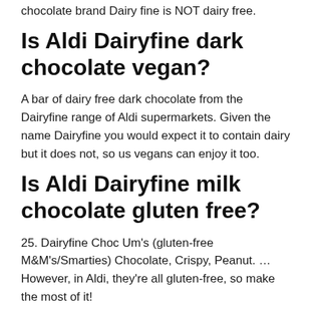chocolate brand Dairy fine is NOT dairy free.
Is Aldi Dairyfine dark chocolate vegan?
A bar of dairy free dark chocolate from the Dairyfine range of Aldi supermarkets. Given the name Dairyfine you would expect it to contain dairy but it does not, so us vegans can enjoy it too.
Is Aldi Dairyfine milk chocolate gluten free?
25. Dairyfine Choc Um’s (gluten-free M&M’s/Smarties) Chocolate, Crispy, Peanut. … However, in Aldi, they’re all gluten-free, so make the most of it!